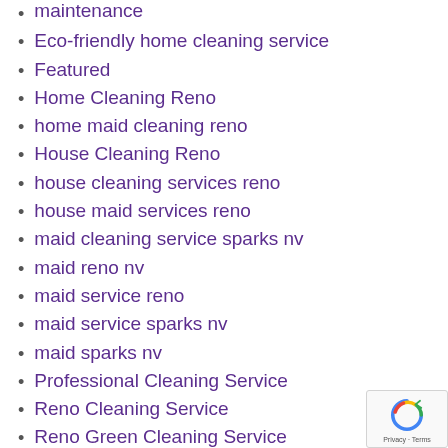maintenance
Eco-friendly home cleaning service
Featured
Home Cleaning Reno
home maid cleaning reno
House Cleaning Reno
house cleaning services reno
house maid services reno
maid cleaning service sparks nv
maid reno nv
maid service reno
maid service sparks nv
maid sparks nv
Professional Cleaning Service
Reno Cleaning Service
Reno Green Cleaning Service
Residential Cleaning Service
Sparks Cleaning Service
Sparks Green Cleaning Service